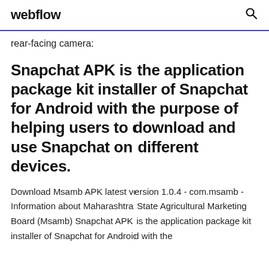webflow
rear-facing camera:
Snapchat APK is the application package kit installer of Snapchat for Android with the purpose of helping users to download and use Snapchat on different devices.
Download Msamb APK latest version 1.0.4 - com.msamb - Information about Maharashtra State Agricultural Marketing Board (Msamb) Snapchat APK is the application package kit installer of Snapchat for Android with the